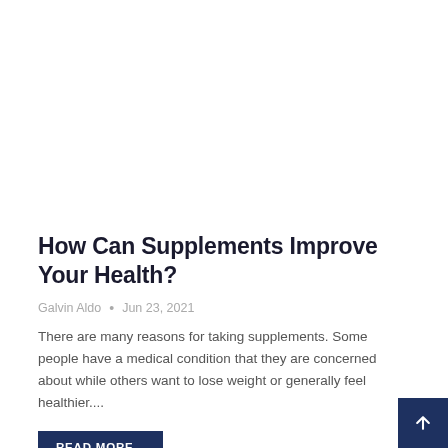How Can Supplements Improve Your Health?
Galvin Aldo • Jun 23, 2021
There are many reasons for taking supplements. Some people have a medical condition that they are concerned about while others want to lose weight or generally feel healthier....
READ MORE...